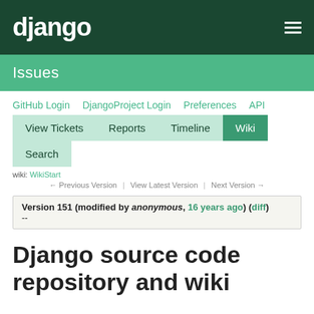django
Issues
GitHub Login   DjangoProject Login   Preferences   API
View Tickets   Reports   Timeline   Wiki   Search
wiki: WikiStart
← Previous Version | View Latest Version | Next Version →
Version 151 (modified by anonymous, 16 years ago) (diff)
--
Django source code repository and wiki